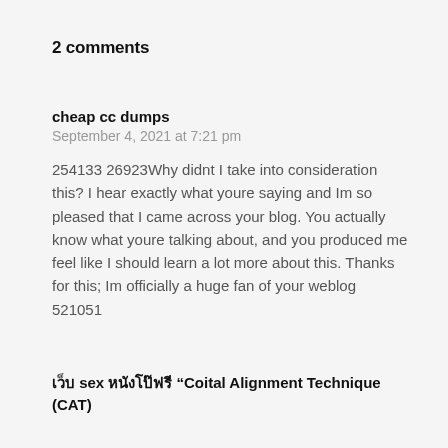2 comments
cheap cc dumps
September 4, 2021 at 7:21 pm

254133 26923Why didnt I take into consideration this? I hear exactly what youre saying and Im so pleased that I came across your blog. You actually know what youre talking about, and you produced me feel like I should learn a lot more about this. Thanks for this; Im officially a huge fan of your weblog 521051
เว็บ sex หนังโป๊ฟรี "Coital Alignment Technique (CAT)